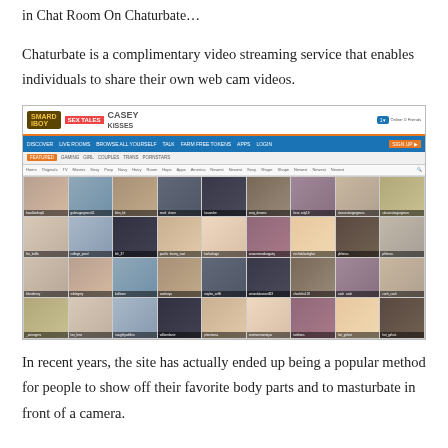in Chat Room On Chaturbate…
Chaturbate is a complimentary video streaming service that enables individuals to share their own web cam videos.
[Figure (screenshot): Screenshot of the Chaturbate website showing a grid of webcam video thumbnails with navigation bar and category filters.]
In recent years, the site has actually ended up being a popular method for people to show off their favorite body parts and to masturbate in front of a camera.